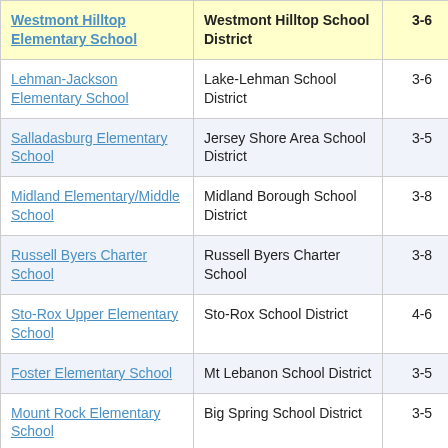| School | District | Grades |  |
| --- | --- | --- | --- |
| Westmont Hilltop Elementary School | Westmont Hilltop School District | 3-6 | 1. |
| Lehman-Jackson Elementary School | Lake-Lehman School District | 3-6 | 2. |
| Salladasburg Elementary School | Jersey Shore Area School District | 3-5 | 4. |
| Midland Elementary/Middle School | Midland Borough School District | 3-8 | 2. |
| Russell Byers Charter School | Russell Byers Charter School | 3-8 | 1. |
| Sto-Rox Upper Elementary School | Sto-Rox School District | 4-6 | 1. |
| Foster Elementary School | Mt Lebanon School District | 3-5 | 3. |
| Mount Rock Elementary School | Big Spring School District | 3-5 | 2. |